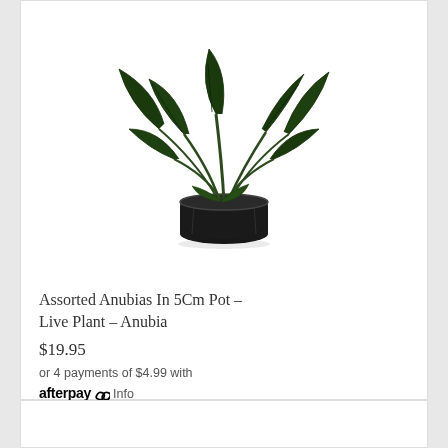[Figure (photo): A green leafy Anubias aquatic plant in a small black pot, photographed on white background]
Assorted Anubias In 5Cm Pot - Live Plant - Anubia
$19.95
or 4 payments of $4.99 with afterpay Info
Add to Cart